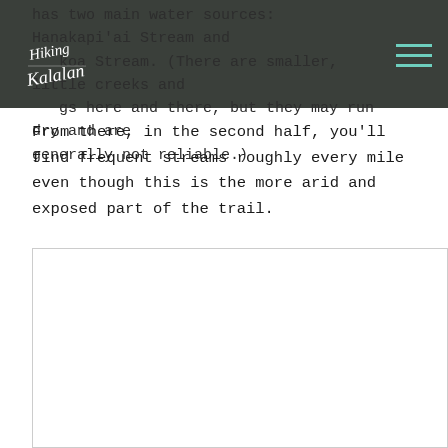has two main water sources: Hanakapiʻai Stream and …koa Stream. (There are smaller, little creeks and …gs here and there, but they may run dry and are generally not reliable.)
From there, in the second half, you'll find frequent streams roughly every mile even though this is the more arid and exposed part of the trail.
[Figure (photo): White/blank image placeholder area below the text content]